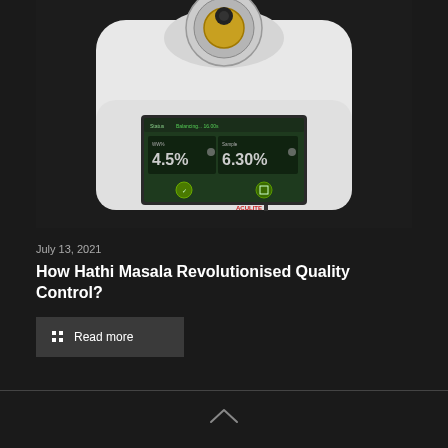[Figure (photo): White laboratory instrument (moisture analyzer or similar benchtop device) with a touchscreen display showing green readout with measurement values, a circular sample chamber on top with a black knob, and a gold/amber colored sample cup visible. Red brand logo text visible at bottom right of device.]
July 13, 2021
How Hathi Masala Revolutionised Quality Control?
Read more